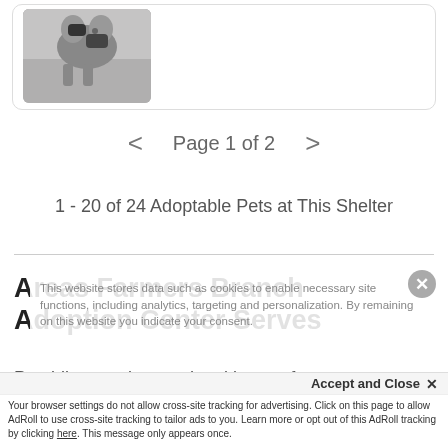[Figure (photo): Partial view of a pet (appears to be a cat or dog) in a card/listing area at the top of the page]
< Page 1 of 2 >
1 - 20 of 24 Adoptable Pets at This Shelter
Areas Farmers Branch Adoption Center Serves
Providing services to the citizens of
Farmers Branch, And adop...
This website stores data such as cookies to enable necessary site functions, including analytics, targeting and personalization. By remaining on this website you indicate your consent.
Cookie Policy
Accept and Close ✕
Your browser settings do not allow cross-site tracking for advertising. Click on this page to allow AdRoll to use cross-site tracking to tailor ads to you. Learn more or opt out of this AdRoll tracking by clicking here. This message only appears once.